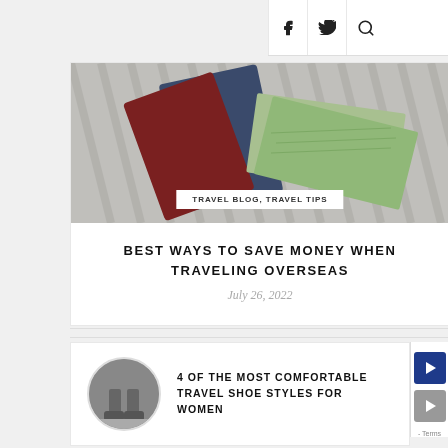f  twitter  search
[Figure (photo): Photo of passports and dollar bills on a striped fabric background]
TRAVEL BLOG, TRAVEL TIPS
BEST WAYS TO SAVE MONEY WHEN TRAVELING OVERSEAS
July 26, 2022
[Figure (photo): Circular thumbnail photo of travel shoes/feet]
4 OF THE MOST COMFORTABLE TRAVEL SHOE STYLES FOR WOMEN